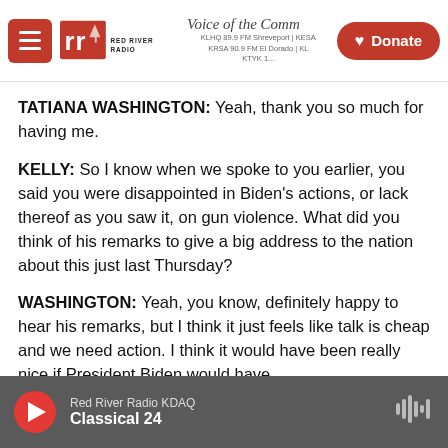Red River Radio — Voice of the Community — Donate
TATIANA WASHINGTON: Yeah, thank you so much for having me.
KELLY: So I know when we spoke to you earlier, you said you were disappointed in Biden's actions, or lack thereof as you saw it, on gun violence. What did you think of his remarks to give a big address to the nation about this just last Thursday?
WASHINGTON: Yeah, you know, definitely happy to hear his remarks, but I think it just feels like talk is cheap and we need action. I think it would have been really nice if President Biden would have
Red River Radio KDAQ — Classical 24